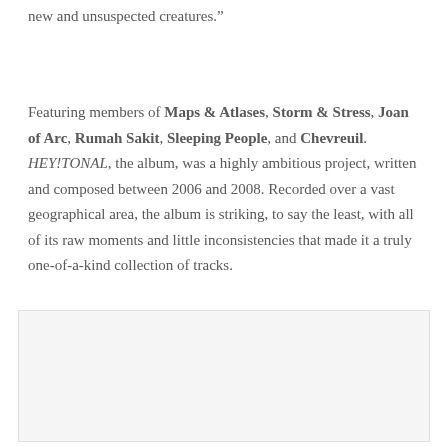new and unsuspected creatures.”
Featuring members of Maps & Atlases, Storm & Stress, Joan of Arc, Rumah Sakit, Sleeping People, and Chevreuil. HEY!TONAL, the album, was a highly ambitious project, written and composed between 2006 and 2008. Recorded over a vast geographical area, the album is striking, to say the least, with all of its raw moments and little inconsistencies that made it a truly one-of-a-kind collection of tracks.
[Figure (other): Light gray rectangular box, likely a placeholder image or album art area]